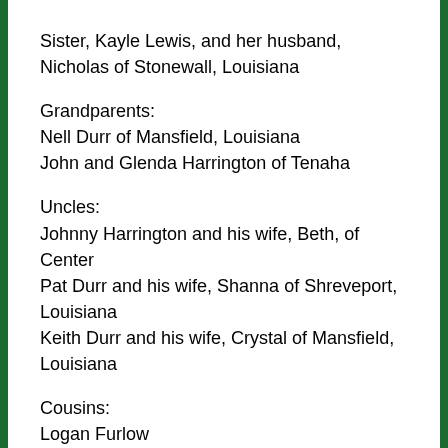Sister, Kayle Lewis, and her husband, Nicholas of Stonewall, Louisiana
Grandparents:
Nell Durr of Mansfield, Louisiana
John and Glenda Harrington of Tenaha
Uncles:
Johnny Harrington and his wife, Beth, of Center
Pat Durr and his wife, Shanna of Shreveport, Louisiana
Keith Durr and his wife, Crystal of Mansfield, Louisiana
Cousins:
Logan Furlow
J.T. Harrington
Annie Durr
Levi Durr
Blocker Durr